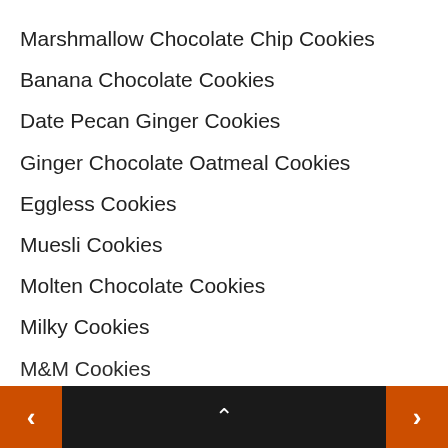Marshmallow Chocolate Chip Cookies
Banana Chocolate Cookies
Date Pecan Ginger Cookies
Ginger Chocolate Oatmeal Cookies
Eggless Cookies
Muesli Cookies
Molten Chocolate Cookies
Milky Cookies
M&M Cookies
< ^ >